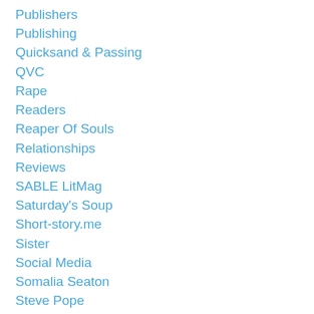Publishers
Publishing
Quicksand & Passing
QVC
Rape
Readers
Reaper Of Souls
Relationships
Reviews
SABLE LitMag
Saturday's Soup
Short-story.me
Sister
Social Media
Somalia Seaton
Steve Pope
Still I Rise
Sunrise Pic
The Bump
The Long Song
The Mathematics Of Love